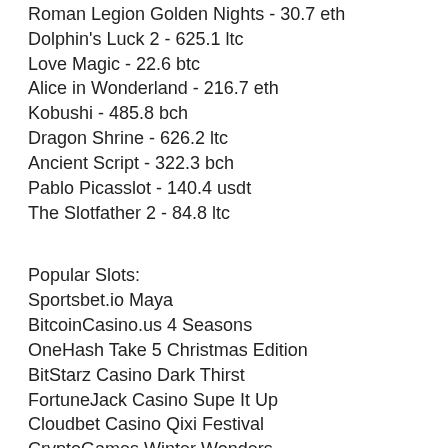Roman Legion Golden Nights - 30.7 eth
Dolphin's Luck 2 - 625.1 ltc
Love Magic - 22.6 btc
Alice in Wonderland - 216.7 eth
Kobushi - 485.8 bch
Dragon Shrine - 626.2 ltc
Ancient Script - 322.3 bch
Pablo Picasslot - 140.4 usdt
The Slotfather 2 - 84.8 ltc
Popular Slots:
Sportsbet.io Maya
BitcoinCasino.us 4 Seasons
OneHash Take 5 Christmas Edition
BitStarz Casino Dark Thirst
FortuneJack Casino Supe It Up
Cloudbet Casino Qixi Festival
CryptoGames Winter Wonders
1xBit Casino Rome Warrior
CryptoWild Casino The Legendary Red Dragon